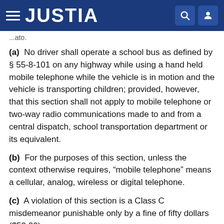JUSTIA
...ato.
(a) No driver shall operate a school bus as defined by § 55-8-101 on any highway while using a hand held mobile telephone while the vehicle is in motion and the vehicle is transporting children; provided, however, that this section shall not apply to mobile telephone or two-way radio communications made to and from a central dispatch, school transportation department or its equivalent.
(b) For the purposes of this section, unless the context otherwise requires, “mobile telephone” means a cellular, analog, wireless or digital telephone.
(c) A violation of this section is a Class C misdemeanor punishable only by a fine of fifty dollars ($50.00).
(d) It is an affirmative defense to prosecution under this